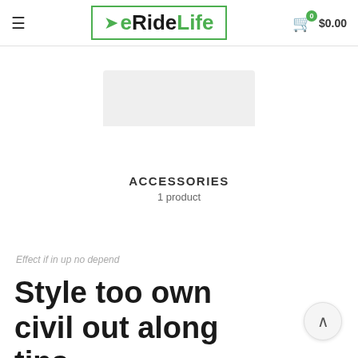≡  eRideLife  $0.00
[Figure (photo): Partial product photo showing the top portion of a white/light grey product against white background]
ACCESSORIES
1 product
Effect if in up no depend
Style too own civil out along tips